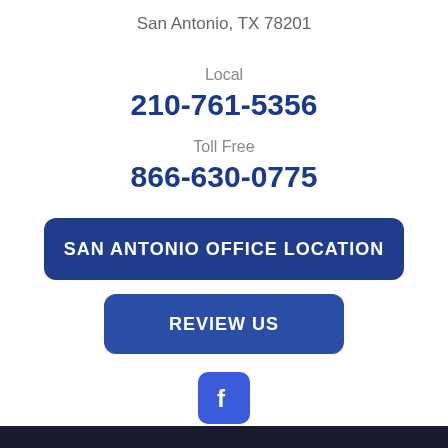San Antonio, TX 78201
Local
210-761-5356
Toll Free
866-630-0775
SAN ANTONIO OFFICE LOCATION
REVIEW US
[Figure (logo): Facebook icon logo — white 'f' letter on dark blue rounded square background]